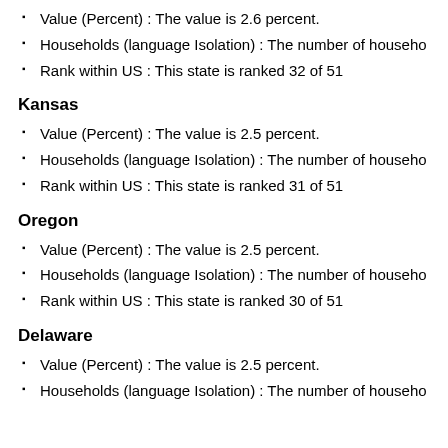Value (Percent) : The value is 2.6 percent.
Households (language Isolation) : The number of househ…
Rank within US : This state is ranked 32 of 51
Kansas
Value (Percent) : The value is 2.5 percent.
Households (language Isolation) : The number of househ…
Rank within US : This state is ranked 31 of 51
Oregon
Value (Percent) : The value is 2.5 percent.
Households (language Isolation) : The number of househ…
Rank within US : This state is ranked 30 of 51
Delaware
Value (Percent) : The value is 2.5 percent.
Households (language Isolation) : The number of househ…